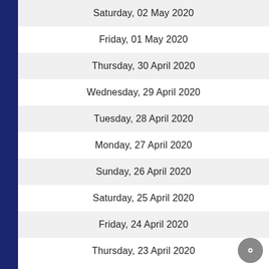Saturday, 02 May 2020
Friday, 01 May 2020
Thursday, 30 April 2020
Wednesday, 29 April 2020
Tuesday, 28 April 2020
Monday, 27 April 2020
Sunday, 26 April 2020
Saturday, 25 April 2020
Friday, 24 April 2020
Thursday, 23 April 2020